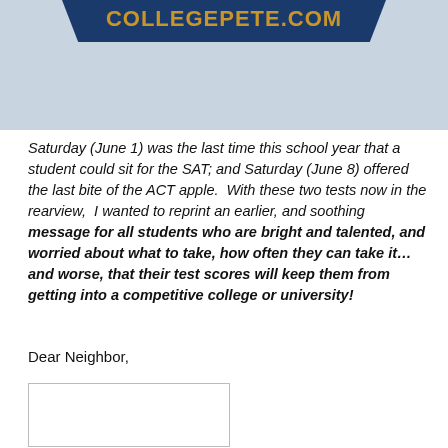[Figure (logo): CollegePete.com banner logo on blue background with dark blue ribbon and gold text]
Saturday (June 1) was the last time this school year that a student could sit for the SAT; and Saturday (June 8) offered the last bite of the ACT apple.  With these two tests now in the rearview,  I wanted to reprint an earlier, and soothing message for all students who are bright and talented, and worried about what to take, how often they can take it... and worse, that their test scores will keep them from getting into a competitive college or university!
Dear Neighbor,
[Figure (photo): Empty white image box placeholder]